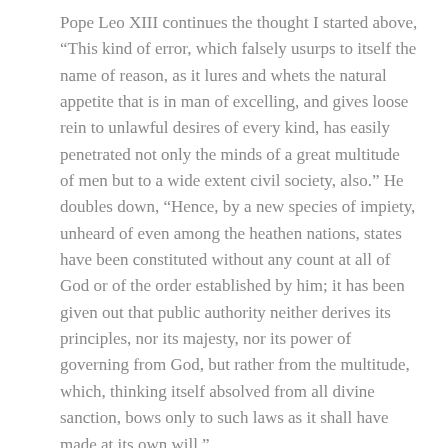Pope Leo XIII continues the thought I started above, “This kind of error, which falsely usurps to itself the name of reason, as it lures and whets the natural appetite that is in man of excelling, and gives loose rein to unlawful desires of every kind, has easily penetrated not only the minds of a great multitude of men but to a wide extent civil society, also.” He doubles down, “Hence, by a new species of impiety, unheard of even among the heathen nations, states have been constituted without any count at all of God or of the order established by him; it has been given out that public authority neither derives its principles, nor its majesty, nor its power of governing from God, but rather from the multitude, which, thinking itself absolved from all divine sanction, bows only to such laws as it shall have made at its own will.”
Can you say America? He is describing the United